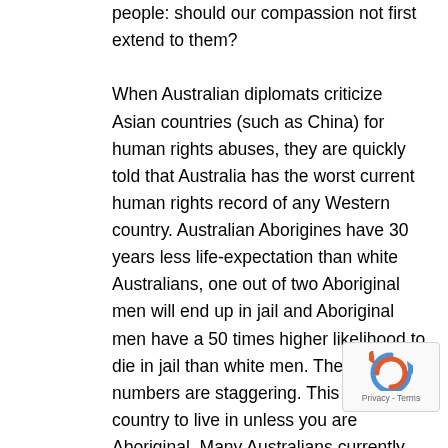people: should our compassion not first extend to them?

When Australian diplomats criticize Asian countries (such as China) for human rights abuses, they are quickly told that Australia has the worst current human rights record of any Western country. Australian Aborigines have 30 years less life-expectation than white Australians, one out of two Aboriginal men will end up in jail and Aboriginal men have a 50 times higher likelihood to die in jail than white men. These numbers are staggering. This is a great country to live in unless you are Aboriginal. Many Australians currently talk about the execution of two heroin dealers but very few about the staggering numbers of Aboriginal deaths in custody. Shouldn't we clean up our own backyard first before pointing our finger at others?